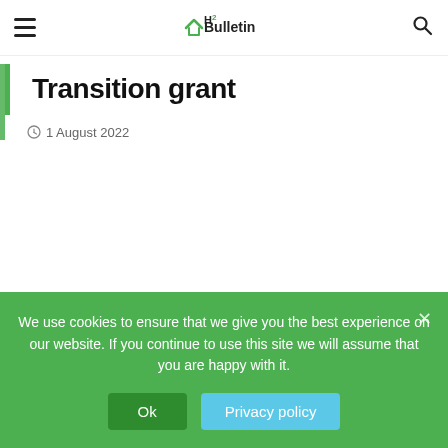H2 Bulletin
Transition grant
1 August 2022
We use cookies to ensure that we give you the best experience on our website. If you continue to use this site we will assume that you are happy with it.
Ok
Privacy policy